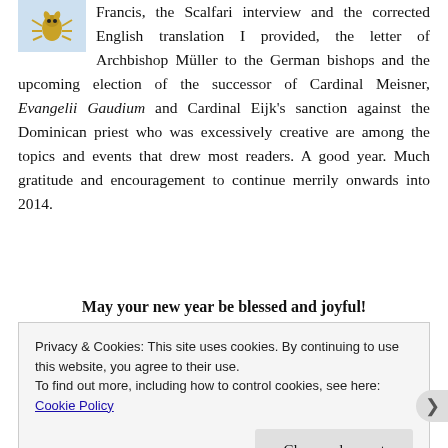[Figure (illustration): Small golden beetle/insect icon on a light blue background]
Francis, the Scalfari interview and the corrected English translation I provided, the letter of Archbishop Müller to the German bishops and the upcoming election of the successor of Cardinal Meisner, Evangelii Gaudium and Cardinal Eijk's sanction against the Dominican priest who was excessively creative are among the topics and events that drew most readers. A good year. Much gratitude and encouragement to continue merrily onwards into 2014.
May your new year be blessed and joyful!
Privacy & Cookies: This site uses cookies. By continuing to use this website, you agree to their use.
To find out more, including how to control cookies, see here: Cookie Policy
Close and accept